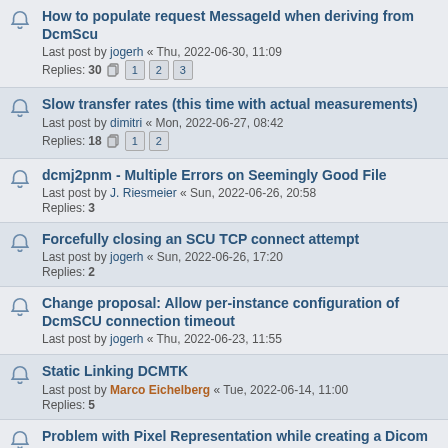How to populate request MessageId when deriving from DcmScu
Last post by jogerh « Thu, 2022-06-30, 11:09
Replies: 30
Slow transfer rates (this time with actual measurements)
Last post by dimitri « Mon, 2022-06-27, 08:42
Replies: 18
dcmj2pnm - Multiple Errors on Seemingly Good File
Last post by J. Riesmeier « Sun, 2022-06-26, 20:58
Replies: 3
Forcefully closing an SCU TCP connect attempt
Last post by jogerh « Sun, 2022-06-26, 17:20
Replies: 2
Change proposal: Allow per-instance configuration of DcmSCU connection timeout
Last post by jogerh « Thu, 2022-06-23, 11:55
Static Linking DCMTK
Last post by Marco Eichelberg « Tue, 2022-06-14, 11:00
Replies: 5
Problem with Pixel Representation while creating a Dicom
Last post by J. Riesmeier « Fri, 2022-06-03, 12:51
Replies: 8
Two steps for moving a study to local storage?
Last post by J. Riesmeier « Wed, 2022-06-01, 15:48
Replies: 2
Can I set AE Title in Chinese?
Last post by Michael Onken « Wed, 2022-06-01, 10:27
Replies: 1